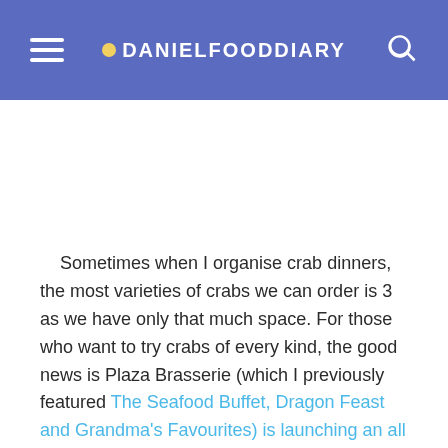DANIELFOODDIARY
Sometimes when I organise crab dinners, the most varieties of crabs we can order is 3 as we have only that much space. For those who want to try crabs of every kind, the good news is Plaza Brasserie (which I previously featured The Seafood Buffet, Dragon Feast and Grandma's Favourites) is launching an all you can eat Crab Fiesta buffet!